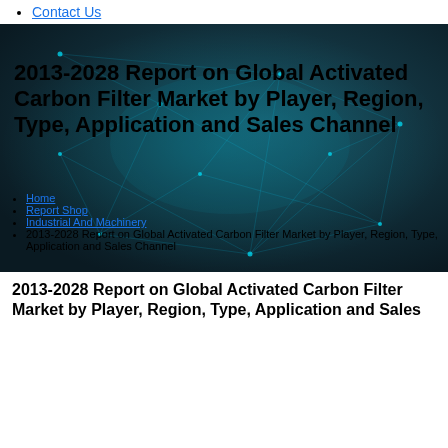Contact Us
[Figure (illustration): Dark teal background with glowing network/constellation graphic. Large bold title text overlaid: '2013-2028 Report on Global Activated Carbon Filter Market by Player, Region, Type, Application and Sales Channel'. Below the title are bullet navigation links: Home, Report Shop, Industrial And Machinery, and a non-linked breadcrumb item.]
Home
Report Shop
Industrial And Machinery
2013-2028 Report on Global Activated Carbon Filter Market by Player, Region, Type, Application and Sales Channel
2013-2028 Report on Global Activated Carbon Filter Market by Player, Region, Type, Application and Sales